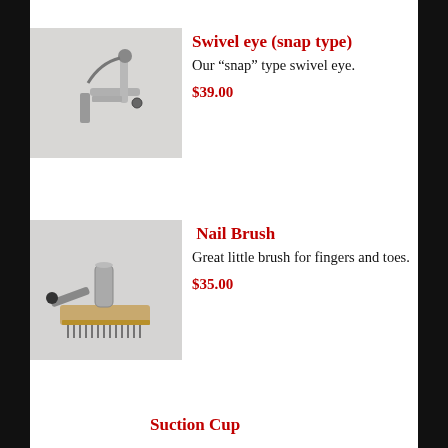[Figure (photo): Swivel eye snap type device - metallic arm with swivel attachment on white background]
Swivel eye (snap type)
Our “snap” type swivel eye.
$39.00
[Figure (photo): Nail brush - wooden brush with bristles and cylindrical attachment on white background]
Nail Brush
Great little brush for fingers and toes.
$35.00
Suction Cup